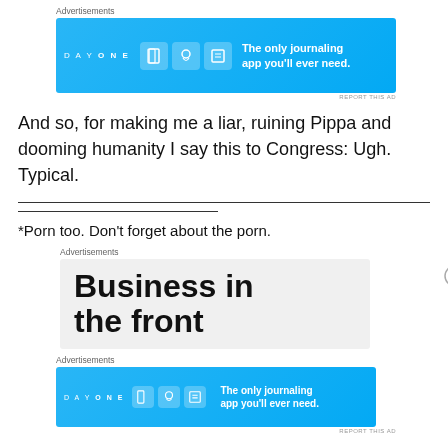[Figure (other): DAY ONE app advertisement banner - blue background with app icons and text 'The only journaling app you'll ever need.']
And so, for making me a liar, ruining Pippa and dooming humanity I say this to Congress: Ugh. Typical.
[Figure (other): Horizontal rule divider line]
*Porn too. Don't forget about the porn.
[Figure (other): Advertisement banner showing 'Business in the front' text on gray background]
[Figure (other): DAY ONE app advertisement banner - blue background with app icons and text 'The only journaling app you'll ever need.']